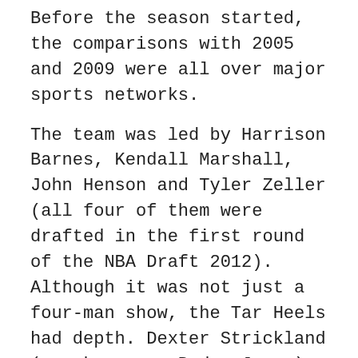Before the season started, the comparisons with 2005 and 2009 were all over major sports networks.
The team was led by Harrison Barnes, Kendall Marshall, John Henson and Tyler Zeller (all four of them were drafted in the first round of the NBA Draft 2012). Although it was not just a four-man show, the Tar Heels had depth. Dexter Strickland (now known as Baden Jaxen) and Reggie Bullock provided great cover in the back-court and an unbelievable freshman duo of PJ Hairston and James Michael McAdoo would be household names across North Carolina in years to come.
This was the most talented team since the 2009 National Champions, there was so much excitement around North Carolina before a ball was even tipped.